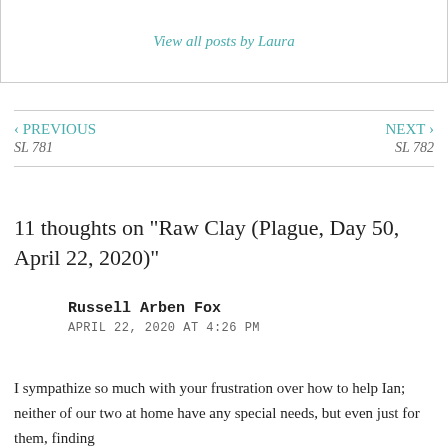View all posts by Laura
‹ PREVIOUS
SL 781
NEXT ›
SL 782
11 thoughts on “Raw Clay (Plague, Day 50, April 22, 2020)”
Russell Arben Fox
APRIL 22, 2020 AT 4:26 PM
I sympathize so much with your frustration over how to help Ian; neither of our two at home have any special needs, but even just for them, finding